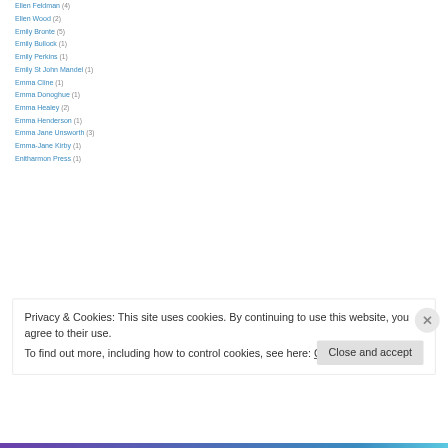Ellen Feldman (4)
Ellen Wood (2)
Emily Bronte (5)
Emily Bullock (1)
Emily Perkins (1)
Emily St John Mandel (1)
Emma Cline (1)
Emma Donoghue (1)
Emma Healey (2)
Emma Henderson (1)
Emma Jane Unsworth (3)
Emma-Jane Kirby (1)
Enitharmon Press (1)
Privacy & Cookies: This site uses cookies. By continuing to use this website, you agree to their use. To find out more, including how to control cookies, see here: Cookie Policy